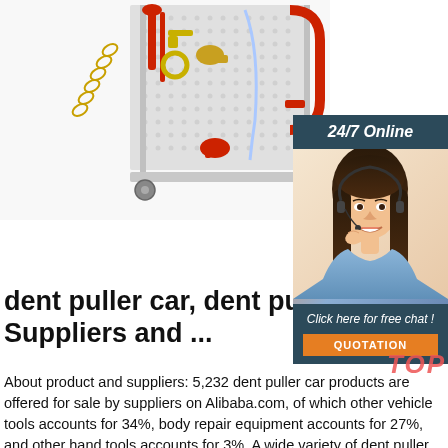[Figure (photo): Tool rack/pegboard with various automotive tools including chains, wrenches, clamps, and other equipment displayed on a white metal stand with wheels.]
[Figure (photo): 24/7 Online customer service widget with photo of woman with headset and 'Click here for free chat!' button and orange QUOTATION button.]
dent puller car, dent puller car Suppliers and ...
About product and suppliers: 5,232 dent puller car products are offered for sale by suppliers on Alibaba.com, of which other vehicle tools accounts for 34%, body repair equipment accounts for 27%, and other hand tools accounts for 3%. A wide variety of dent puller car options are available to you. There are 3,033 suppliers who sells